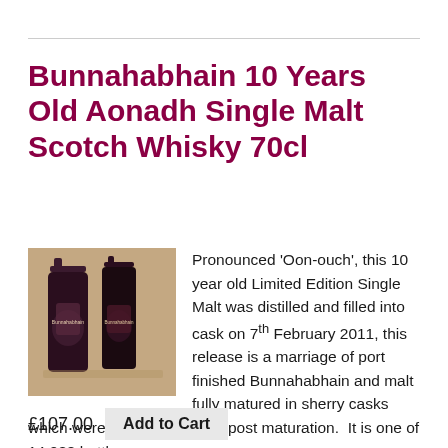Bunnahabhain 10 Years Old Aonadh Single Malt Scotch Whisky 70cl
[Figure (photo): Two dark bottles of Bunnahabhain whisky displayed on a wooden surface]
Pronounced 'Oon-ouch', this 10 year old Limited Edition Single Malt was distilled and filled into cask on 7th February 2011, this release is a marriage of port finished Bunnahabhain and malt fully matured in sherry casks which were brought together post maturation.  It is one of 14,088 bottles.
£107.00   Add to Cart